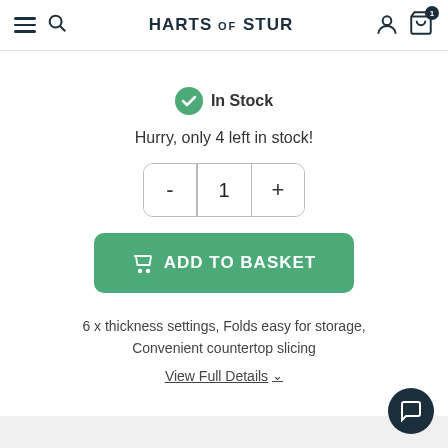HARTS of STUR
In Stock
Hurry, only 4 left in stock!
[Figure (screenshot): Quantity selector with minus, 1, plus buttons]
[Figure (screenshot): Add to Basket button in green]
6 x thickness settings, Folds easy for storage, Convenient countertop slicing
View Full Details ∨